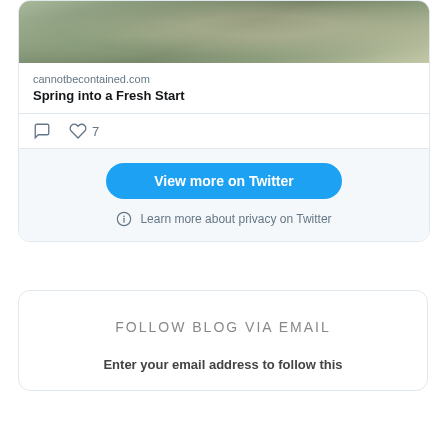[Figure (screenshot): Partial image of a painting showing flowers and greenery, at the top of a Twitter embedded card]
cannotbecontained.com
Spring into a Fresh Start
7
View more on Twitter
Learn more about privacy on Twitter
FOLLOW BLOG VIA EMAIL
Enter your email address to follow this